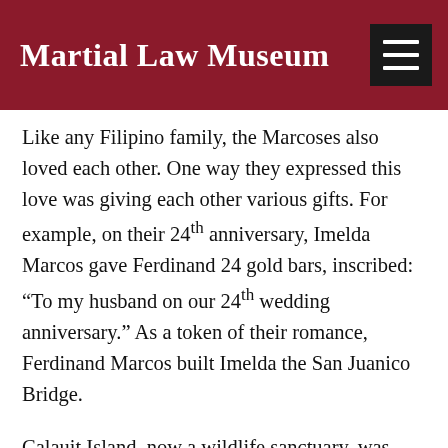Martial Law Museum
Like any Filipino family, the Marcoses also loved each other. One way they expressed this love was giving each other various gifts. For example, on their 24th anniversary, Imelda Marcos gave Ferdinand 24 gold bars, inscribed: “To my husband on our 24th wedding anniversary.” As a token of their romance, Ferdinand Marcos built Imelda the San Juanico Bridge.
Calauit Island, now a wildlife sanctuary, was created as a private hunting ground for Bongbong Marcos, with 120 poor families of farmers and fisherfolk evicted from the land to make way for the African giraffes, zebras, elands, impalas, gazelles, waterbucks, and topis bought at government